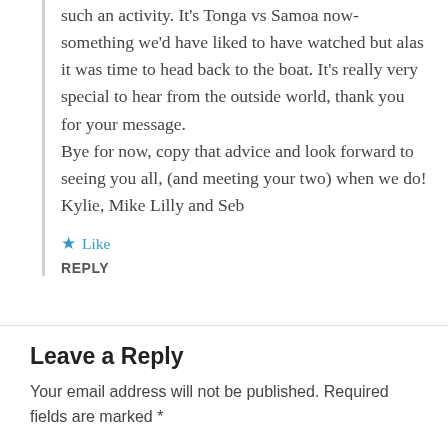such an activity. It's Tonga vs Samoa now-something we'd have liked to have watched but alas it was time to head back to the boat. It's really very special to hear from the outside world, thank you for your message.
Bye for now, copy that advice and look forward to seeing you all, (and meeting your two) when we do!
Kylie, Mike Lilly and Seb
Like
REPLY
Leave a Reply
Your email address will not be published. Required fields are marked *